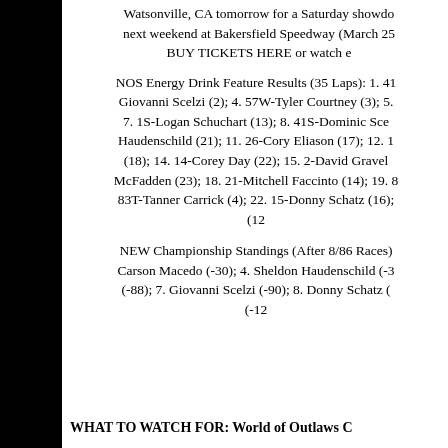Watsonville, CA tomorrow for a Saturday showdown next weekend at Bakersfield Speedway (March 25). BUY TICKETS HERE or watch e
NOS Energy Drink Feature Results (35 Laps): 1. 41-Giovanni Scelzi (2); 4. 57W-Tyler Courtney (3); 5. 7. 1S-Logan Schuchart (13); 8. 41S-Dominic Sce Haudenschild (21); 11. 26-Cory Eliason (17); 12. 1 (18); 14. 14-Corey Day (22); 15. 2-David Gravel McFadden (23); 18. 21-Mitchell Faccinto (14); 19. 8 83T-Tanner Carrick (4); 22. 15-Donny Schatz (16); (12
NEW Championship Standings (After 8/86 Races): Carson Macedo (-30); 4. Sheldon Haudenschild (-3 (-88); 7. Giovanni Scelzi (-90); 8. Donny Schatz ( (-12
WHAT TO WATCH FOR: World of Outlaws C